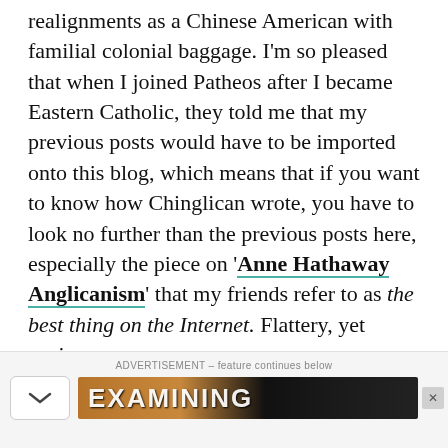realignments as a Chinese American with familial colonial baggage. I'm so pleased that when I joined Patheos after I became Eastern Catholic, they told me that my previous posts would have to be imported onto this blog, which means that if you want to know how Chinglican wrote, you have to look no further than the previous posts here, especially the piece on 'Anne Hathaway Anglicanism' that my friends refer to as the best thing on the Internet. Flattery, yet again.
ADVERTISEMENT – feature continues below
[Figure (other): Advertisement banner strip with chevron/collapse button on left and a partially visible ad image strip with bold white text on dark/brown background]